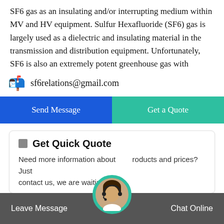SF6 gas as an insulating and/or interrupting medium within MV and HV equipment. Sulfur Hexafluoride (SF6) gas is largely used as a dielectric and insulating material in the transmission and distribution equipment. Unfortunately, SF6 is also an extremely potent greenhouse gas with
sf6relations@gmail.com
Send Message
Get a Quote
Get Quick Quote
Need more information about products and prices?Just contact us, we are waiting
Leave Message   Chat Online